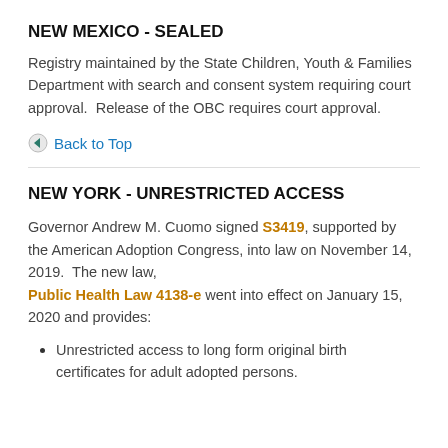NEW MEXICO - SEALED
Registry maintained by the State Children, Youth & Families Department with search and consent system requiring court approval.  Release of the OBC requires court approval.
Back to Top
NEW YORK - UNRESTRICTED ACCESS
Governor Andrew M. Cuomo signed S3419, supported by the American Adoption Congress, into law on November 14, 2019.  The new law, Public Health Law 4138-e went into effect on January 15, 2020 and provides:
Unrestricted access to long form original birth certificates for adult adopted persons.